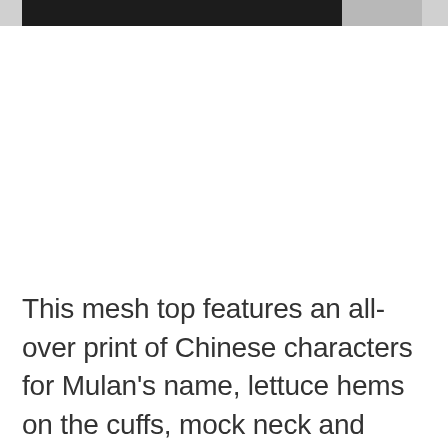[Figure (photo): Partial view of a model wearing a black mesh top, cropped at the top of the page]
This mesh top features an all-over print of Chinese characters for Mulan's name, lettuce hems on the cuffs, mock neck and sleeves, with decorative seams on the outside. It also comes with a black, square neck, racerback tank top underneath.